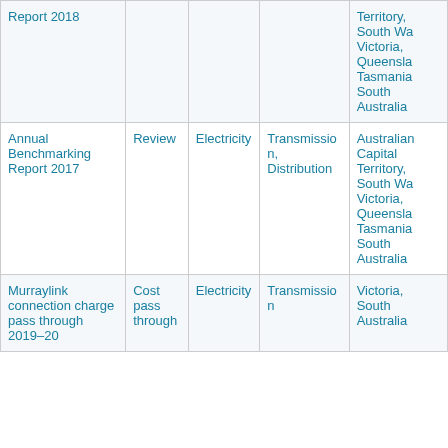| Title | Type | Sector | Segment | Jurisdiction |
| --- | --- | --- | --- | --- |
| Report 2018 |  |  |  | Territory, South Wales, Victoria, Queensland, Tasmania, South Australia |
| Annual Benchmarking Report 2017 | Review | Electricity | Transmission, Distribution | Australian Capital Territory, South Wales, Victoria, Queensland, Tasmania, South Australia |
| Murraylink connection charge pass through 2019–20 | Cost pass through | Electricity | Transmission | Victoria, South Australia |